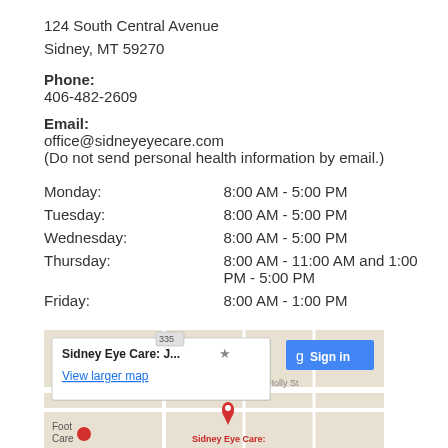124 South Central Avenue
Sidney, MT 59270
Phone:
406-482-2609
Email:
office@sidneyeyecare.com
(Do not send personal health information by email.)
| Day | Hours |
| --- | --- |
| Monday: | 8:00 AM - 5:00 PM |
| Tuesday: | 8:00 AM - 5:00 PM |
| Wednesday: | 8:00 AM - 5:00 PM |
| Thursday: | 8:00 AM - 11:00 AM and 1:00 PM - 5:00 PM |
| Friday: | 8:00 AM - 1:00 PM |
[Figure (screenshot): Google Maps screenshot showing Sidney Eye Care location with popup card reading 'Sidney Eye Care: J...' with a star icon, 'View larger map' link, and a blue Sign in button. A red map pin marks the location.]